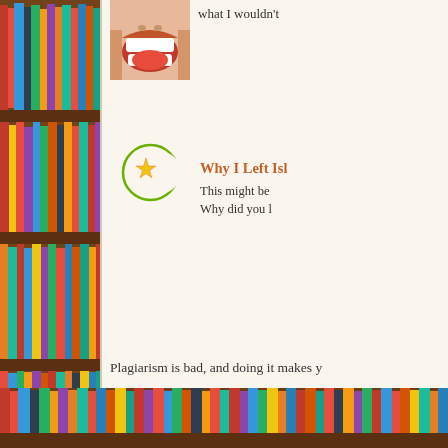[Figure (photo): Person with open mouth/exclaiming, top right area, partially cropped]
what I wouldn't
[Figure (illustration): Islamic crescent moon and star symbol in green and gold/yellow]
Why I Left Isl
This might be... Why did you l
[Figure (photo): Black and white photo of a person writing at a desk]
The 17 Rules
1. Great writing... forgettable–ut
Plagiarism is bad, and doing it makes y
[Figure (photo): Bookshelf with colorful books, left side and bottom of page]